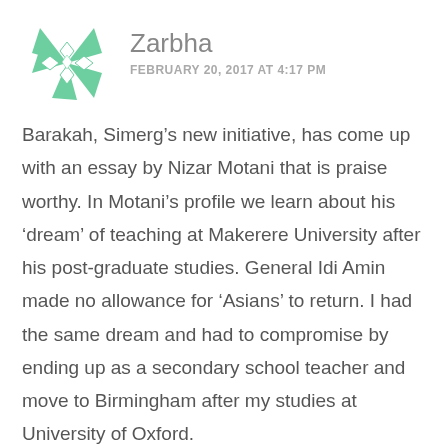[Figure (logo): Green geometric star/pinwheel logo made of triangles and diamond shapes]
Zarbha
FEBRUARY 20, 2017 AT 4:17 PM
Barakah, Simerg’s new initiative, has come up with an essay by Nizar Motani that is praise worthy. In Motani’s profile we learn about his ‘dream’ of teaching at Makerere University after his post-graduate studies. General Idi Amin made no allowance for ‘Asians’ to return. I had the same dream and had to compromise by ending up as a secondary school teacher and move to Birmingham after my studies at University of Oxford.